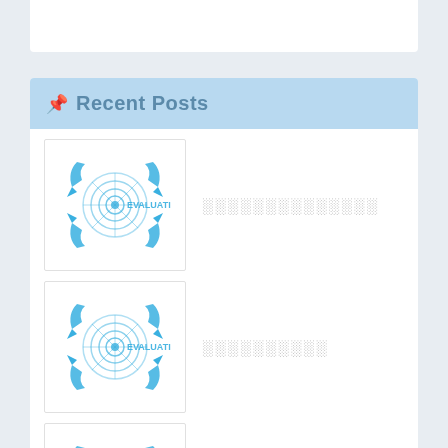📌 Recent Posts
[Figure (logo): Blue circular evaluation icon with arrows and concentric circles, text EVALUATI visible]
░░░░░░░░░░░░░░
[Figure (logo): Blue circular evaluation icon with arrows and concentric circles, text EVALUATI visible]
░░░░░░░░░░
[Figure (logo): Blue circular evaluation icon with arrows and concentric circles, text EVALUATI visible]
░░░░░░░░░░░░░░
[Figure (logo): Blue circular evaluation icon with arrows and concentric circles, partial view]